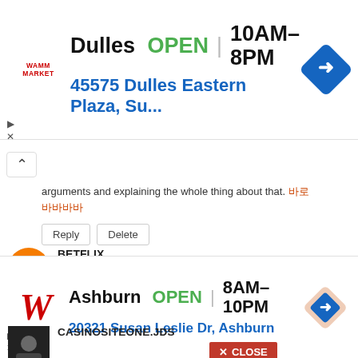[Figure (screenshot): Top advertisement banner: Dulles store, OPEN 10AM-8PM, address 45575 Dulles Eastern Plaza, Su... with Walgreens logo and navigation diamond icon]
arguments and explaining the whole thing about that. 바로바로
Reply | Delete
BETFLIX
May 12, 2022 at 12:04 AM
the time, answering questions and responding to all the betflix
Reply | Delete
CASINOSITEONE.JDS
[Figure (screenshot): Close button overlay: red button with X CLOSE text]
[Figure (screenshot): Bottom advertisement banner: Ashburn store, OPEN 8AM-10PM, address 20321 Susan Leslie Dr, Ashburn with Walgreens logo and navigation diamond icon]